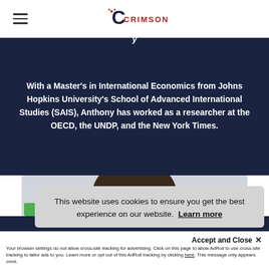CRIMSON
With a Master's in International Economics from Johns Hopkins University's School of Advanced International Studies (SAIS), Anthony has worked as a researcher at the OECD, the UNDP, and the New York Times.
[Figure (photo): Headshot photo of a person, cropped at the top of the frame showing face and hair]
This website uses cookies to ensure you get the best experience on our website. Learn more
Accept and Close ×
Your browser settings do not allow cross-site tracking for advertising. Click on this page to allow AdRoll to use cross-site tracking to tailor ads to you. Learn more or opt out of this AdRoll tracking by clicking here. This message only appears once.